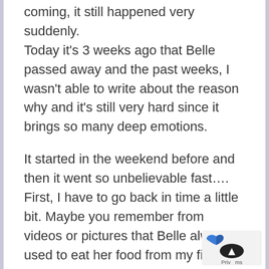coming, it still happened very suddenly.
Today it's 3 weeks ago that Belle passed away and the past weeks, I wasn't able to write about the reason why and it's still very hard since it brings so many deep emotions.

It started in the weekend before and then it went so unbelievable fast…. First, I have to go back in time a little bit. Maybe you remember from videos or pictures that Belle always used to eat her food from my finger